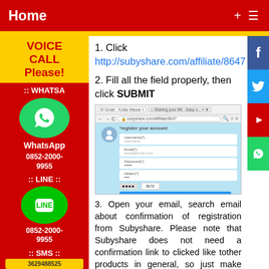Home
1. Click http://subyshare.com/affiliate/8647
2. Fill all the field properly, then click SUBMIT
[Figure (screenshot): Browser screenshot showing subyshare.com/affiliate/8647 registration form with fields for Username, Email, Password, Helper, captcha, and a Submit button]
3. Open your email, search email about confirmation of registration from Subyshare. Please note that Subyshare does not need a confirmation link to clicked like tother products in general, so just make sure you've